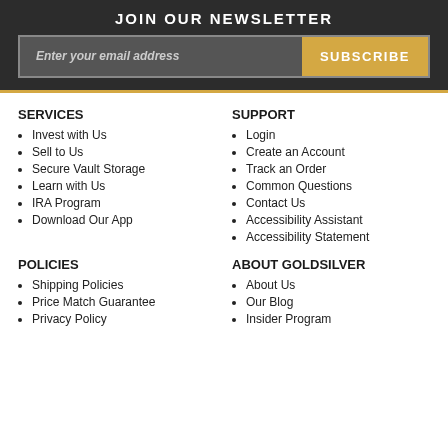JOIN OUR NEWSLETTER
Enter your email address
SUBSCRIBE
SERVICES
Invest with Us
Sell to Us
Secure Vault Storage
Learn with Us
IRA Program
Download Our App
SUPPORT
Login
Create an Account
Track an Order
Common Questions
Contact Us
Accessibility Assistant
Accessibility Statement
POLICIES
Shipping Policies
Price Match Guarantee
Privacy Policy
ABOUT GOLDSILVER
About Us
Our Blog
Insider Program